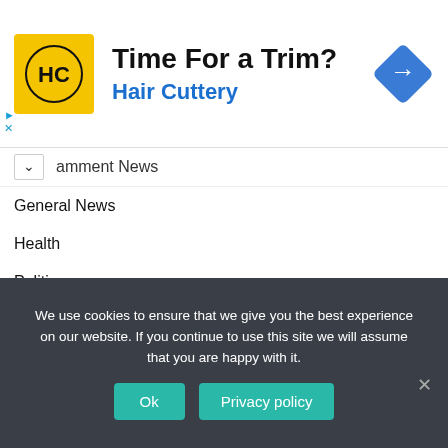[Figure (advertisement): Hair Cuttery ad banner with yellow logo showing HC initials, headline 'Time For a Trim?', subtitle 'Hair Cuttery' in blue, and a blue diamond-shaped turn arrow icon on the right.]
amment News
General News
Health
Politics
Sports
Uncategorized
Video
World
We use cookies to ensure that we give you the best experience on our website. If you continue to use this site we will assume that you are happy with it.
Ok   Privacy policy